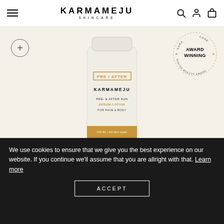KARMAMEJU SKINCARE — navigation bar with hamburger menu, logo, search, account, and bag icons
[Figure (photo): Karmameju Pre/After sun serum-lotion product tube on a cream/beige background, with a circular plus/zoom button and an 'Award Winning Danish Beauty Award' circular badge in the top right]
We use cookies to ensure that we give you the best experience on our website. If you continue we'll assume that you are allright with that. Learn more
ACCEPT